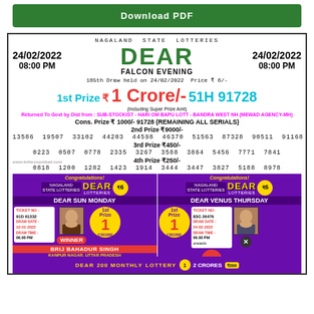Download PDF
NAGALAND STATE LOTTERIES
24/02/2022  DEAR  24/02/2022
08:00 PM  FALCON EVENING  08:00 PM
165th Draw held on 24/02/2022 Price ₹ 6/-
1st Prize ₹ 1 Crore/- 51H 91728
(Including Super Prize Amt)
Returned To Govt by Dist from : SUB-STOCKIST - HARI OM BAPU LOTT - BANDRA WEST NH (MEWAD AGENCY-MH)
Cons. Prize ₹ 1000/- 91728 (REMAINING ALL SERIALS)
2nd Prize ₹9000/-
13586 19507 33102 44203 44598 46370 51563 87328 90511 91168
3rd Prize ₹450/-
0223 0507 0778 2335 3267 3588 3864 5456 7771 7841
4th Prize ₹250/-
0818 1200 1282 1423 1914 3444 3447 3827 5188 8978
[Figure (infographic): Two winner announcement banners side by side. Left: Dear Sun Monday lottery winner Brij Bahadur Singh from Kanpur Nagar, Uttar Pradesh, Ticket No: 91D 61332, Draw Date: 10-01-2022, Draw Time: 06.00 PM, 1st Prize 1 Crore. Right: Dear Venus Thursday lottery winner Modan Sing from Khirpal, Paschim Medinpur, Ticket No: 83G 26476, Draw Date: 24-02-2022, Draw Time: 06.00 PM onwards, Seller 1 Lakh.]